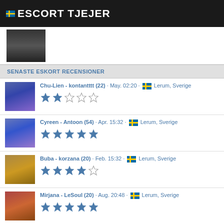ESCORT TJEJER
[Figure (photo): Thumbnail image of a person, partially visible, at top of page]
SENASTE ESKORT RECENSIONER
Chu-Lien - kontantttt (22) · May. 02:20 · Lerum, Sverige — 2 stars
Cyreen - Antoon (54) · Apr. 15:32 · Lerum, Sverige — 5 stars
Buba - korzana (20) · Feb. 15:32 · Lerum, Sverige — 4 stars
Mirjana - LeSoul (20) · Aug. 20:48 · Lerum, Sverige — 5 stars
Marcusvys - cazual (15) · Nov. 21:34 · (flag)